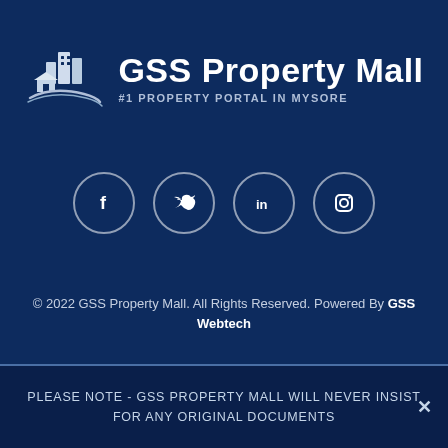[Figure (logo): GSS Property Mall logo with building/house icon and swoosh, white on dark blue background, with text 'GSS Property Mall' and '#1 PROPERTY PORTAL IN MYSORE']
[Figure (infographic): Four social media icon circles: Facebook (f), Twitter (bird), LinkedIn (in), Instagram (camera)]
© 2022 GSS Property Mall. All Rights Reserved. Powered By GSS Webtech
PLEASE NOTE - GSS PROPERTY MALL WILL NEVER INSIST FOR ANY ORIGINAL DOCUMENTS